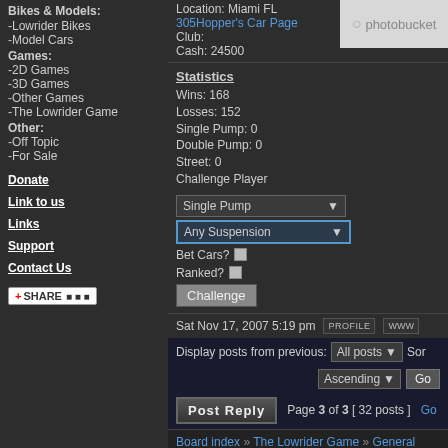Bikes & Models:
-Lowrider Bikes
-Model Cars
Games:
-2D Games
-3D Games
-Other Games
-The Lowrider Game
Other:
-Off Topic
-For Sale
Donate
Link to us
Links
Support
Contact Us
Location: Miami FL
Club:
Cash: 24500
305Hopper's Car Page
Statistics
Wins: 168
Losses: 152
Single Pump: 0
Double Pump: 0
Street: 0
Challenge Player
Single Pump | Any Suspension | Bet Cars? | Ranked? | Challenge
Sat Nov 17, 2007 5:19 pm
Display posts from previous: All posts | Ascending | Go
Post Reply  Page 3 of 3  [ 32 posts ]
Board index » The Lowrider Game » General
Who is online
Users browsing this forum: No registered users and 13 g...
You cannot p...
You cannot...
You cannot...